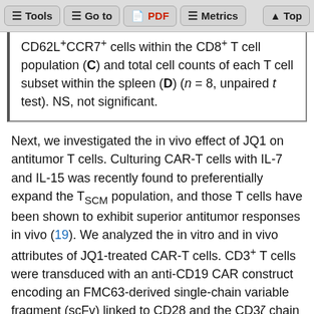Tools | Go to | PDF | Metrics | Top
CD62L+CCR7+ cells within the CD8+ T cell population (C) and total cell counts of each T cell subset within the spleen (D) (n = 8, unpaired t test). NS, not significant.
Next, we investigated the in vivo effect of JQ1 on antitumor T cells. Culturing CAR-T cells with IL-7 and IL-15 was recently found to preferentially expand the TSCM population, and those T cells have been shown to exhibit superior antitumor responses in vivo (19). We analyzed the in vitro and in vivo attributes of JQ1-treated CAR-T cells. CD3+ T cells were transduced with an anti-CD19 CAR construct encoding an FMC63-derived single-chain variable fragment (scFv) linked to CD28 and the CD3ζ chain (31). After a 2-week expansion in the presence of